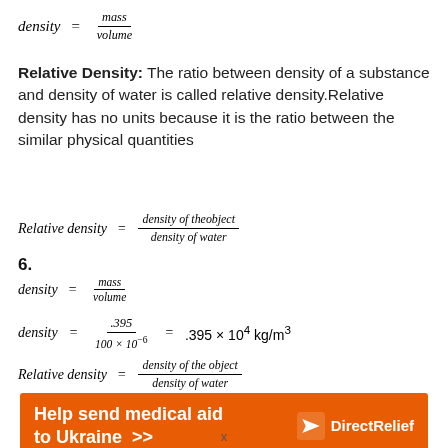Relative Density: The ratio between density of a substance and density of water is called relative density.Relative density has no units because it is the ratio between the similar physical quantities
6.
[Figure (other): Orange advertisement banner for Direct Relief: 'Help send medical aid to Ukraine >>' with Direct Relief logo]
x